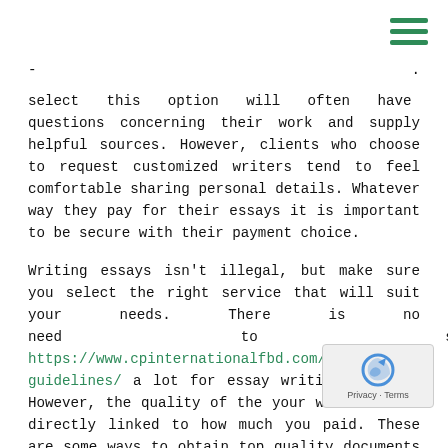[Figure (other): Hamburger menu icon with three green horizontal lines in top right corner]
select this option will often have questions concerning their work and supply helpful sources. However, clients who choose to request customized writers tend to feel comfortable sharing personal details. Whatever way they pay for their essays it is important to be secure with their payment choice.
Writing essays isn't illegal, but make sure you select the right service that will suit your needs. There is no need                    to                    spend https://www.cpinternationalfbd.com/cbse-rules-guidelines/ a lot for essay writing services However, the quality of the your work will be directly linked to how much you paid. These are some ways to obtain top quality documents at a costs you can afford. It is also possible to negotiate prices.
Refund policy